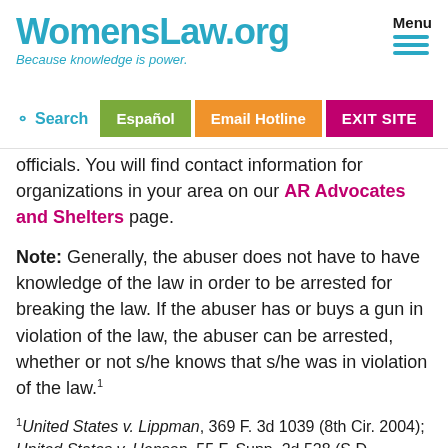WomensLaw.org — Because knowledge is power. Menu | Español | Email Hotline | EXIT SITE
officials. You will find contact information for organizations in your area on our AR Advocates and Shelters page.
Note: Generally, the abuser does not have to have knowledge of the law in order to be arrested for breaking the law. If the abuser has or buys a gun in violation of the law, the abuser can be arrested, whether or not s/he knows that s/he was in violation of the law.¹
¹United States v. Lippman, 369 F. 3d 1039 (8th Cir. 2004); United States v. Henson, 55 F. Supp. 2d 528 (S.D.